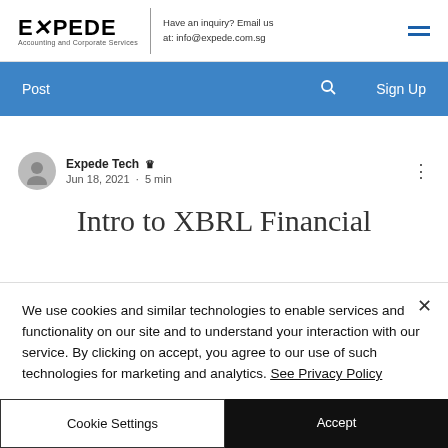EXPEDE Accounting and Corporate Services — Have an inquiry? Email us at: info@expede.com.sg
Post  Sign Up
Expede Tech  Jun 18, 2021 · 5 min
Intro to XBRL Financial
We use cookies and similar technologies to enable services and functionality on our site and to understand your interaction with our service. By clicking on accept, you agree to our use of such technologies for marketing and analytics. See Privacy Policy
Cookie Settings  Accept